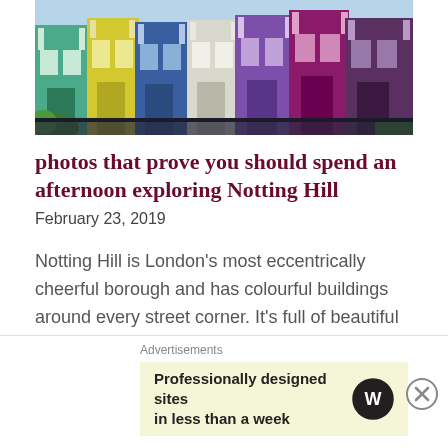[Figure (photo): Colourful terrace houses in Notting Hill, London, showing vibrant painted facades in blue, purple, green, yellow, and teal colours along a street.]
photos that prove you should spend an afternoon exploring Notting Hill
February 23, 2019
Notting Hill is London's most eccentrically cheerful borough and has colourful buildings around every street corner. It's full of beautiful streets and houses, home to one of London's most famous markets (Portobello Road Market) and is of course the set of the iconic romantic
Advertisements
Professionally designed sites in less than a week